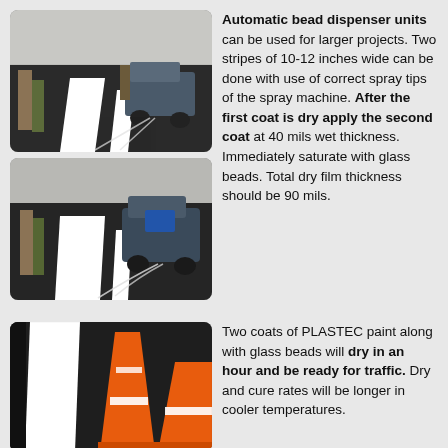[Figure (photo): Top photo: person walking beside an automatic bead dispenser/spray machine applying white stripes on dark asphalt pavement.]
[Figure (photo): Middle photo: closer view of the same automatic bead dispenser machine applying white road markings on asphalt.]
Automatic bead dispenser units can be used for larger projects. Two stripes of 10-12 inches wide can be done with use of correct spray tips of the spray machine. After the first coat is dry apply the second coat at 40 mils wet thickness. Immediately saturate with glass beads. Total dry film thickness should be 90 mils.
[Figure (photo): Bottom photo: white road stripe on dark asphalt with orange traffic cones placed beside it.]
Two coats of PLASTEC paint along with glass beads will dry in an hour and be ready for traffic. Dry and cure rates will be longer in cooler temperatures.